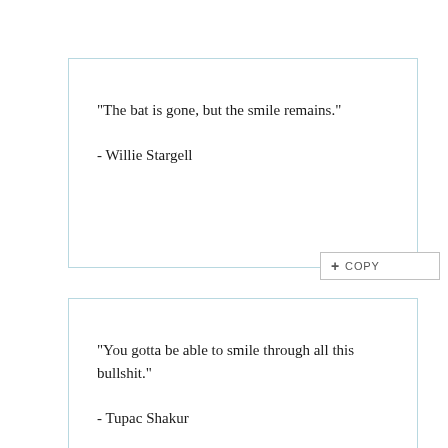"The bat is gone, but the smile remains."

- Willie Stargell
"You gotta be able to smile through all this bullshit."

- Tupac Shakur